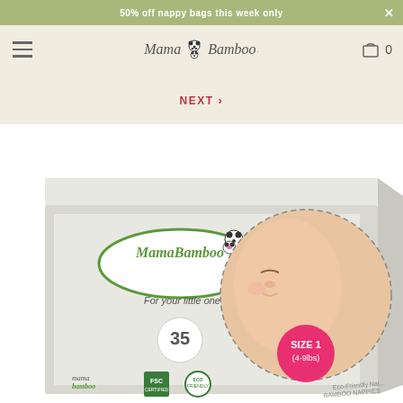50% off nappy bags this week only
[Figure (logo): Mama Bamboo logo with panda icon]
NEXT >
[Figure (photo): Mama Bamboo Size 1 nappy box (4-9lbs), 35 count. Box shows panda logo, text 'For your little one's delicate botty', '35', 'SIZE 1 (4-9lbs)', 'Eco-Friendly Natural Bamboo Nappies', FSC and eco-friendly logos. A photo of a sleeping newborn baby is visible on the right side of the box.]